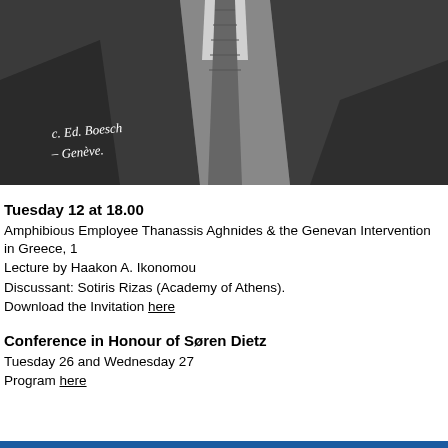[Figure (photo): Black and white photograph showing a man in a dark suit and tie, cropped at torso level. A handwritten signature reads 'C. Ed. Boesch Genève' in the lower left corner.]
Tuesday 12 at 18.00
Amphibious Employee Thanassis Aghnides & the Genevan Intervention in Greece, 1
Lecture by Haakon A. Ikonomou
Discussant: Sotiris Rizas (Academy of Athens).
Download the Invitation here
Conference in Honour of Søren Dietz
Tuesday 26 and Wednesday 27
Program here